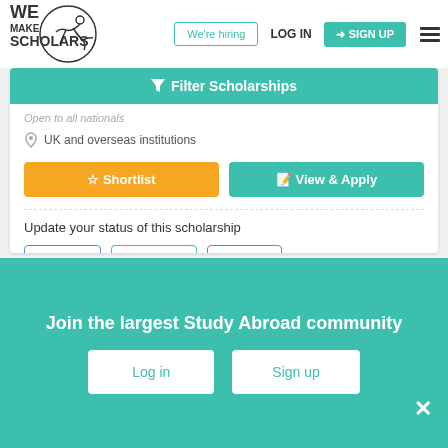[Figure (logo): We Make Scholars logo with acrobatic figure]
We're hiring | LOG IN | SIGN UP
Filter Scholarships
Open to all nationals
UK and overseas institutions
Shortlist
View & Apply
Update your status of this scholarship
Applied
Admitted
Denied
Join the largest Study Abroad community
Log in
Sign up